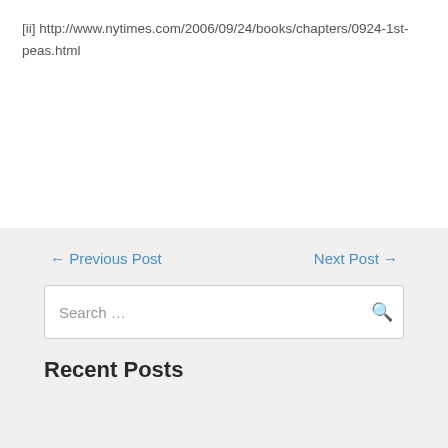[ii] http://www.nytimes.com/2006/09/24/books/chapters/0924-1st-peas.html
← Previous Post
Next Post →
Search …
Recent Posts